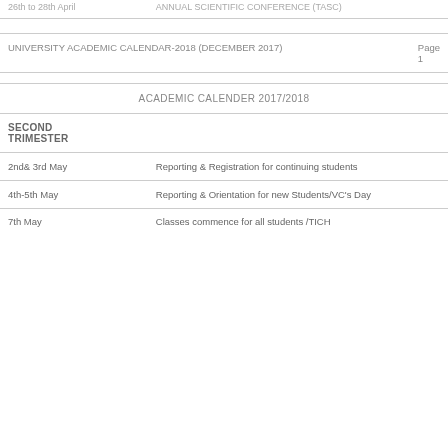| 26th to 28th April | ANNUAL SCIENTIFIC CONFERENCE (TASC) |
| UNIVERSITY ACADEMIC CALENDAR-2018 (DECEMBER 2017) | Page 1 |
|  | ACADEMIC CALENDER 2017/2018 |
| SECOND TRIMESTER |  |
| 2nd& 3rd May | Reporting & Registration for continuing students |
| 4th-5th May | Reporting & Orientation for new Students/VC's Day |
| 7th May | Classes commence for all students /TICH |